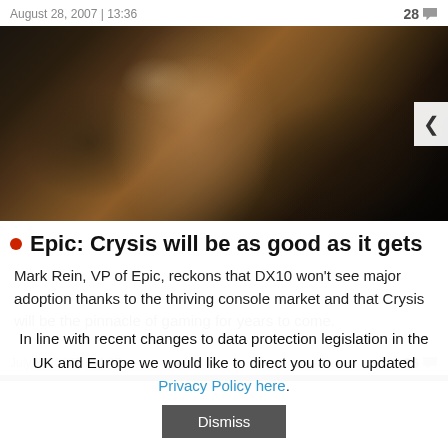August 28, 2007 | 13:36   28
[Figure (photo): Blurry dark screenshot showing a close-up of a face, likely from the video game Crysis, with dark moody lighting]
Epic: Crysis will be as good as it gets
Mark Rein, VP of Epic, reckons that DX10 won't see major adoption thanks to the thriving console market and that Crysis will be the pinnacle of gaming for years to come.
July 31, 2007 | 14:07   36
In line with recent changes to data protection legislation in the UK and Europe we would like to direct you to our updated Privacy Policy here.
Dismiss